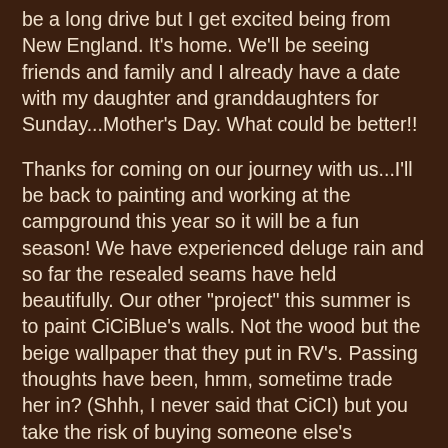be a long drive but I get excited being from New England. It's home.  We'll be seeing friends and family and I already have a date with my daughter and granddaughters for Sunday...Mother's Day. What could be better!!
Thanks for coming on our journey with us...I'll be back to painting and working at the campground this year so it will be a fun season! We have experienced deluge rain and so far the resealed seams have held beautifully.  Our other "project" this summer is to paint CiCiBlue's walls. Not the wood but the beige wallpaper that they put in RV's.  Passing thoughts have been, hmm, sometime trade her in? (Shhh, I never said that CiCI) but you take the risk of buying someone else's problems. The Universe knows what we/she needs and I have Faith.
New cold wax and oils coming and some fun dog/Lab art too. Roger's making eggs and bacon so I am so ending this!!! Love you all!
Warmly,
Sheila